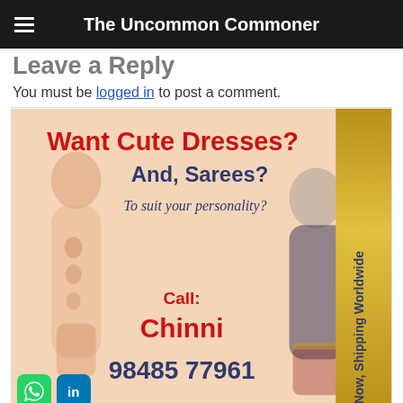The Uncommon Commoner
Leave a Reply
You must be logged in to post a comment.
[Figure (illustration): Advertisement banner for Indian clothing store: 'Want Cute Dresses? And, Sarees? To suit your personality?' with two female model figures (one in light salwar, one in dark kurta), text 'Call: Chinni 98485 77961', a gold vertical strip on right reading 'Now, Shipping Worldwide', set on a peach/salmon background.]